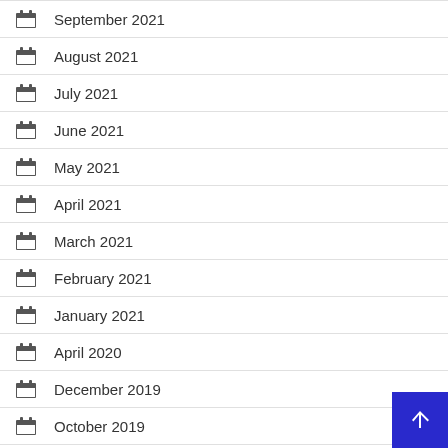September 2021
August 2021
July 2021
June 2021
May 2021
April 2021
March 2021
February 2021
January 2021
April 2020
December 2019
October 2019
March 2016